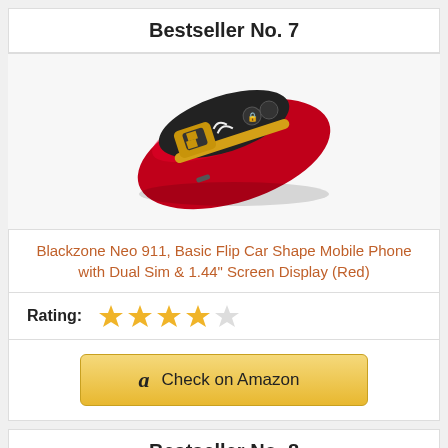Bestseller No. 7
[Figure (photo): Red car key-shaped mobile phone (Blackzone Neo 911) with black top panel showing buttons and Porsche-style logo, gold trim accents]
Blackzone Neo 911, Basic Flip Car Shape Mobile Phone with Dual Sim & 1.44" Screen Display (Red)
Rating: ★★★★☆
Check on Amazon
Bestseller No. 8